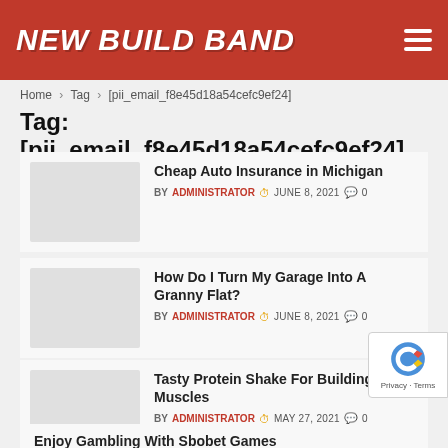NEW BUILD BAND
Home > Tag > [pii_email_f8e45d18a54cefc9ef24]
Tag: [pii_email_f8e45d18a54cefc9ef24]
Cheap Auto Insurance in Michigan BY ADMINISTRATOR JUNE 8, 2021 0
How Do I Turn My Garage Into A Granny Flat? BY ADMINISTRATOR JUNE 8, 2021 0
Tasty Protein Shake For Building Muscles BY ADMINISTRATOR MAY 27, 2021 0
Enjoy Gambling With Sbobet Games